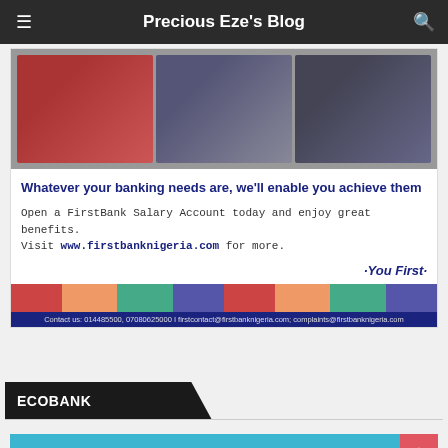Precious Eze's Blog
[Figure (illustration): FirstBank Nigeria advertisement showing collage of property images and financial services photos with headline 'Whatever your banking needs are, we'll enable you achieve them'. Includes text about opening a FirstBank Salary Account, website www.firstbanknigeria.com, tagline 'You First', decorative banner strip, and contact information.]
ECOBANK
[Figure (illustration): Ecobank advertisement on teal/blue background showing Ecobank Super Savings logo on left, large white bold text 'WIN N25,000 WEEKLY' in center, and Ecobank badge icon and scroll-up button on right.]